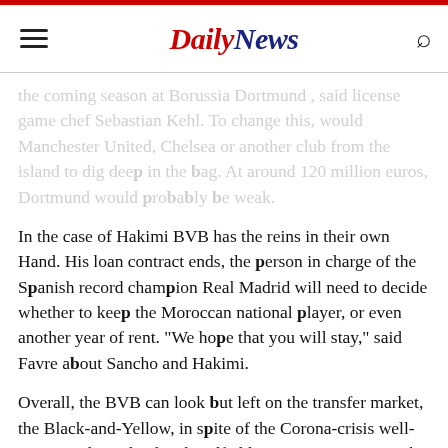Daily News
the coming season at Borussia Dortmund , said license game chef Sebastian Kehl. To change this, would Manchester United, Chelsea or another club from the island to dig deep in the bag. At around 120 million euros, Dortmund would probably be weak.
In the case of Hakimi BVB has the reins in their own Hand. His loan contract ends, the person in charge of the Spanish record champion Real Madrid will need to decide whether to keep the Moroccan national player, or even another year of rent. "We hope that you will stay," said Favre about Sancho and Hakimi.
Overall, the BVB can look but left on the transfer market, the Black-and-Yellow, in spite of the Corona-crisis well-positioned. Haaland and midfielder Emre Can came in the Winter. The renewed Champions